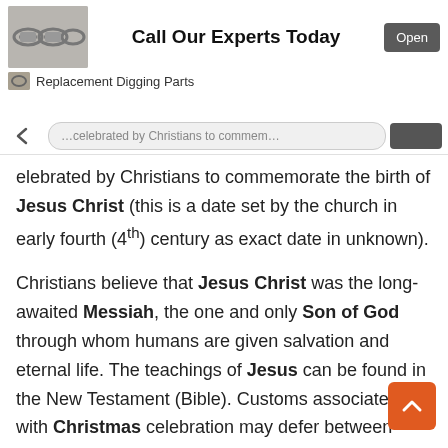[Figure (screenshot): Advertisement banner: image of chain/digging parts on left, 'Call Our Experts Today' heading in center, 'Open' button on right, and 'Replacement Digging Parts' subtitle below]
celebrated by Christians to commemorate the birth of Jesus Christ (this is a date set by the church in early fourth (4th) century as exact date in unknown).
Christians believe that Jesus Christ was the long-awaited Messiah, the one and only Son of God through whom humans are given salvation and eternal life. The teachings of Jesus can be found in the New Testament (Bible). Customs associated with Christmas celebration may defer between cultures and religions of the world. However, universally the holiday includes exchanging gifts and cards, displaying of Christmas decorations